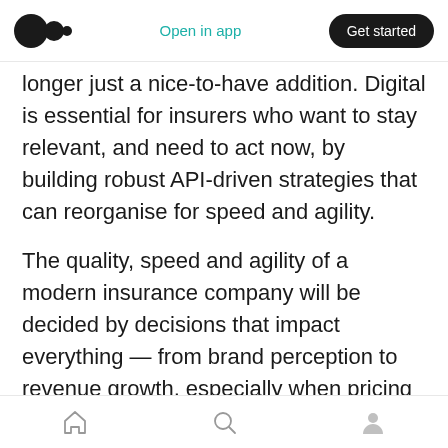Open in app | Get started
longer just a nice-to-have addition. Digital is essential for insurers who want to stay relevant, and need to act now, by building robust API-driven strategies that can reorganise for speed and agility.
The quality, speed and agility of a modern insurance company will be decided by decisions that impact everything — from brand perception to revenue growth, especially when pricing and underwriting risk. Staying relevant means continuously modernizing decision-making frameworks, which can deliver the best decisions
Home | Search | Profile